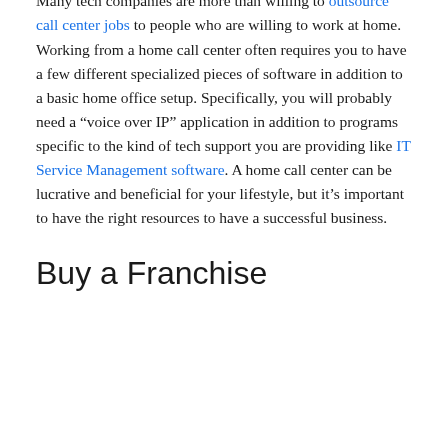suits your interests while also providing a rewarding career for you and people you work with is a difficult proposition, but it is one worth pursuing. If you are looking for a business idea that requires the personality of a self-starter, here are a few that you might find worthwhile.
Home Call Center
Many tech companies are more than willing to outsource call center jobs to people who are willing to work at home. Working from a home call center often requires you to have a few different specialized pieces of software in addition to a basic home office setup. Specifically, you will probably need a “voice over IP” application in addition to programs specific to the kind of tech support you are providing like IT Service Management software. A home call center can be lucrative and beneficial for your lifestyle, but it’s important to have the right resources to have a successful business.
Buy a Franchise